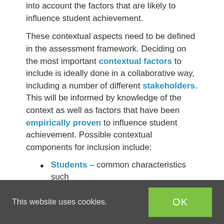into account the factors that are likely to influence student achievement.
These contextual aspects need to be defined in the assessment framework. Deciding on the most important contextual factors to include is ideally done in a collaborative way, including a number of different stakeholders. This will be informed by knowledge of the context as well as factors that have been empirically proven to influence student achievement. Possible contextual components for inclusion include:
Students – common characteristics such
This website uses cookies.